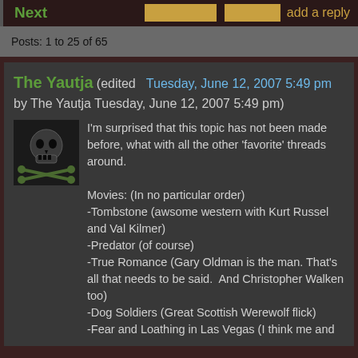Next   add a reply
Posts: 1 to 25 of 65
The Yautja (edited  Tuesday, June 12, 2007 5:49 pm by The Yautja Tuesday, June 12, 2007 5:49 pm)
[Figure (photo): User avatar image showing a skull with crossed bones, dark themed forum avatar]
I'm surprised that this topic has not been made before, what with all the other 'favorite' threads around.

Movies: (In no particular order)
-Tombstone (awsome western with Kurt Russel and Val Kilmer)
-Predator (of course)
-True Romance (Gary Oldman is the man. That's all that needs to be said.  And Christopher Walken too)
-Dog Soldiers (Great Scottish Werewolf flick)
-Fear and Loathing in Las Vegas (I think me and